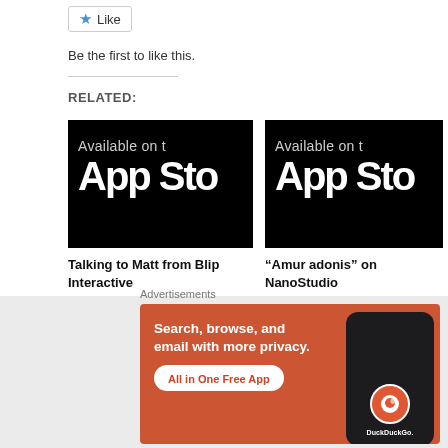Like
Be the first to like this.
RELATED:
[Figure (screenshot): App Store badge image on black background showing 'Available on' and 'App Sto' (cropped)]
Talking to Matt from Blip Interactive
April 13, 2011
With 21 comments
[Figure (screenshot): App Store badge image on black background showing 'Available on' and 'App Sto' (cropped)]
“Amur adonis” on NanoStudio
February 11, 2011
In "Video"
[Figure (screenshot): Partial black image (cropped third related item)]
Advertisements
[Figure (infographic): DuckDuckGo advertisement banner: orange background with text 'Search, browse, and email with more privacy. All in One Free App' and a phone mockup with DuckDuckGo logo]